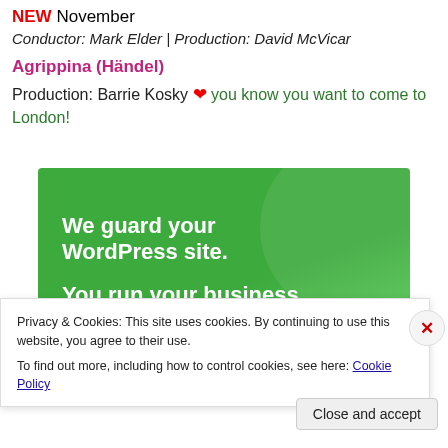NEW November
Conductor: Mark Elder | Production: David McVicar
Agrippina (Händel)
Production: Barrie Kosky ❤ you know you want to come to London!
[Figure (infographic): Green advertisement banner reading 'We guard your WordPress site. You run your business.']
Privacy & Cookies: This site uses cookies. By continuing to use this website, you agree to their use. To find out more, including how to control cookies, see here: Cookie Policy
Close and accept